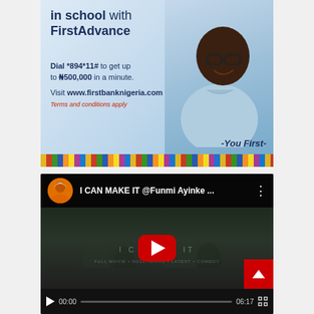[Figure (illustration): FirstBank Nigeria FirstAdvance advertisement banner showing a smiling man wearing glasses and a light blue shirt, with text overlay promoting school fees loan service. Colorful African pattern strip at bottom.]
Keep your kids in school with FirstAdvance
Dial *894*11# to get up to ₦500,000 in a minute.
Visit www.firstbanknigeria.com
Terms and conditions apply
-You First-
[Figure (screenshot): YouTube video player embed showing a video titled 'I CAN MAKE IT @Funmi Ayinke ...' with a channel avatar showing a woman in orange, a red play button in the center, video controls at bottom showing 00:00 / 06:17 timestamp, and a red scroll-to-top button.]